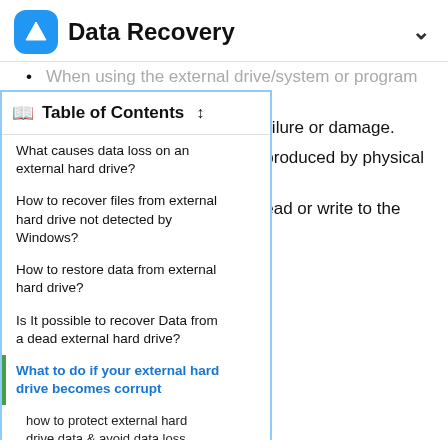Data Recovery
When using the external drive, system or program crashes can be caused by hard disk failure or damage.
Unexplained errors might be produced by physical damage or disk corruption when you read or write to the disk.
ve starts showing any of these d a backup of the external hard otential data recovery.
to another hard drive or you can o software to complete, like
t the external hard drive. he corruption and make the sed again.
al hard drive to your computer and
| Table of Contents |
| --- |
| What causes data loss on an external hard drive? |
| How to recover files from external hard drive not detected by Windows? |
| How to restore data from external hard drive? |
| Is It possible to recover Data from a dead external hard drive? |
| What to do if your external hard drive becomes corrupt |
| how to protect external hard drive data & avoid data loss |